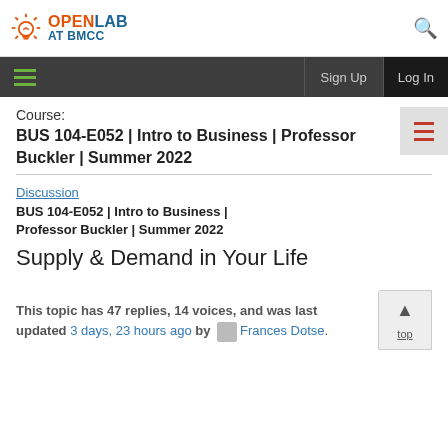OpenLab at BMCC
Course: BUS 104-E052 | Intro to Business | Professor Buckler | Summer 2022
Discussion
BUS 104-E052 | Intro to Business | Professor Buckler | Summer 2022
Supply & Demand in Your Life
This topic has 47 replies, 14 voices, and was last updated 3 days, 23 hours ago by Frances Dotse.